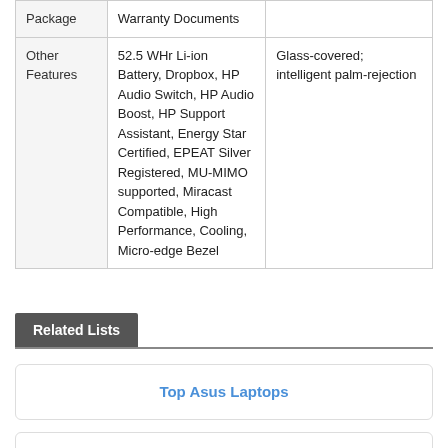|  |  |  |
| --- | --- | --- |
| Package | Warranty Documents |  |
| Other Features | 52.5 WHr Li-ion Battery, Dropbox, HP Audio Switch, HP Audio Boost, HP Support Assistant, Energy Star Certified, EPEAT Silver Registered, MU-MIMO supported, Miracast Compatible, High Performance, Cooling, Micro-edge Bezel | Glass-covered; intelligent palm-rejection |
Related Lists
Top Asus Laptops